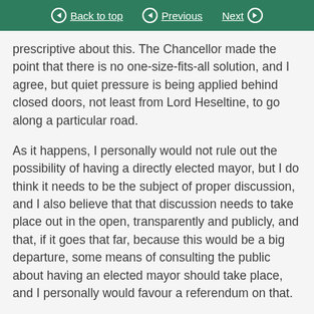Back to top  Previous  Next
prescriptive about this. The Chancellor made the point that there is no one-size-fits-all solution, and I agree, but quiet pressure is being applied behind closed doors, not least from Lord Heseltine, to go along a particular road.
As it happens, I personally would not rule out the possibility of having a directly elected mayor, but I do think it needs to be the subject of proper discussion, and I also believe that that discussion needs to take place out in the open, transparently and publicly, and that, if it goes that far, because this would be a big departure, some means of consulting the public about having an elected mayor should take place, and I personally would favour a referendum on that.